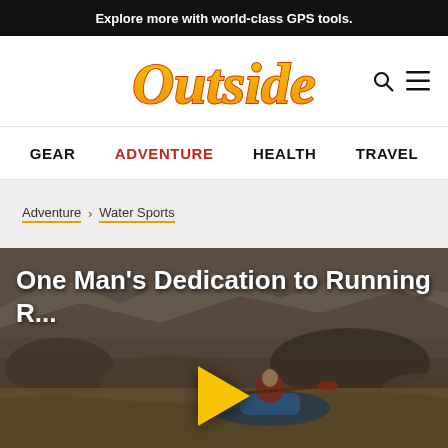Explore more with world-class GPS tools.
[Figure (logo): Outside magazine logo in yellow-orange gradient with red outline]
GEAR  ADVENTURE  HEALTH  TRAVEL
Adventure › Water Sports
One Man's Dedication to Running R...
[Figure (photo): A person kayaking or rafting through a rocky river canyon with muddy brown water. A yellow play button overlay is visible in the center.]